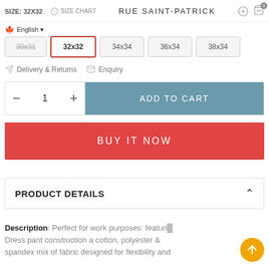SIZE: 32X32  SIZE CHART  RUE SAINT-PATRICK
English ▼
30x31  32x32  34x34  36x34  38x34
Delivery & Returns  Enquiry
− 1 +  ADD TO CART
BUY IT NOW
PRODUCT DETAILS
Description: Perfect for work purposes: featurig Dress pant construction a cotton, polyester & spandex mix of fabric designed for flexibility and